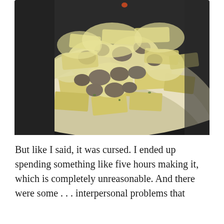[Figure (photo): Close-up overhead photo of a white enamel bowl with a dark rim containing pasta (wide flat noodles) with a creamy sauce and ground meat, viewed from above at an angle.]
But like I said, it was cursed. I ended up spending something like five hours making it, which is completely unreasonable. And there were some . . . interpersonal problems that